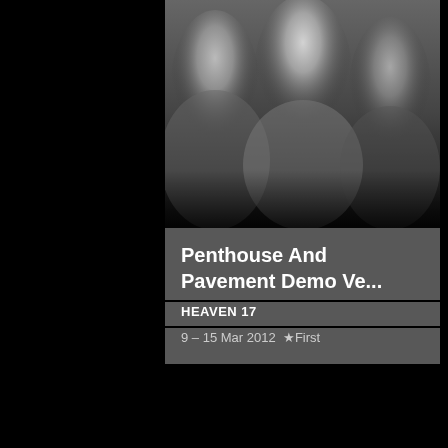[Figure (photo): Black and white photo of three people (Heaven 17 band members) cropped at top]
Penthouse And Pavement Demo Ve...
HEAVEN 17
9 – 15 Mar 2012  ★ First
[Figure (photo): Green vinyl record label from Leaded Records showing: S.I.A.E., L 002, Time 6'00'', Side 1, DISCO MIX, 45 giri, STEREO, LIFE WITH YOU]